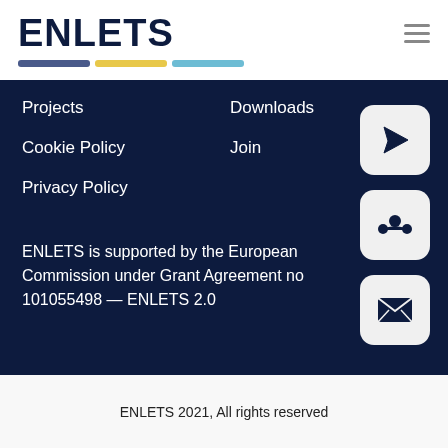ENLETS
Projects
Downloads
Cookie Policy
Join
Privacy Policy
ENLETS is supported by the European Commission under Grant Agreement no 101055498 — ENLETS 2.0
ENLETS 2021, All rights reserved